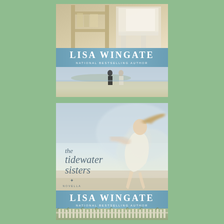[Figure (illustration): Top book cover showing wooden shelves/porch furniture at top, a teal/blue banner with 'LISA WINGATE NATIONAL BESTSELLING AUTHOR' text, and a beach scene below with two figures standing on sandy shore]
[Figure (illustration): Bottom book cover for 'the tidewater sisters' novella by Lisa Wingate, showing a girl running on a beach with hair blowing in wind, wearing white dress; italic title text on left side; teal banner at bottom with author name; fence/dune grass at very bottom]